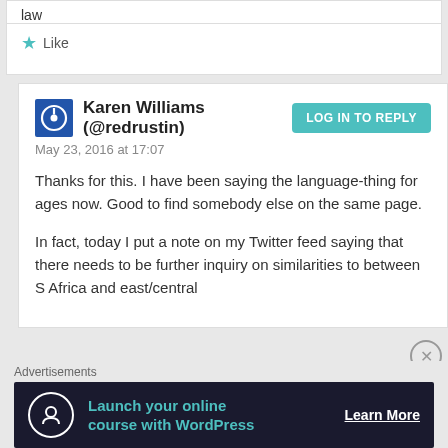law
★ Like
Karen Williams (@redrustin)
May 23, 2016 at 17:07
LOG IN TO REPLY
Thanks for this. I have been saying the language-thing for ages now. Good to find somebody else on the same page.
In fact, today I put a note on my Twitter feed saying that there needs to be further inquiry on similarities to between S Africa and east/central Africa...
Advertisements
[Figure (infographic): Advertisement banner: Launch your online course with WordPress — Learn More]